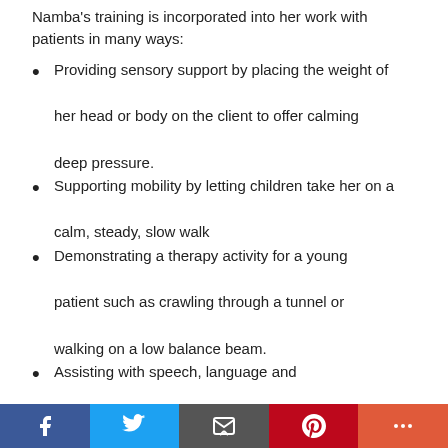Namba's training is incorporated into her work with patients in many ways:
Providing sensory support by placing the weight of her head or body on the client to offer calming deep pressure.
Supporting mobility by letting children take her on a calm, steady, slow walk
Demonstrating a therapy activity for a young patient such as crawling through a tunnel or walking on a low balance beam.
Assisting with speech, language and communication by waving “hi” or following verbal commands of patients.
Social sharing bar: Facebook, Twitter, Email, Pinterest, More